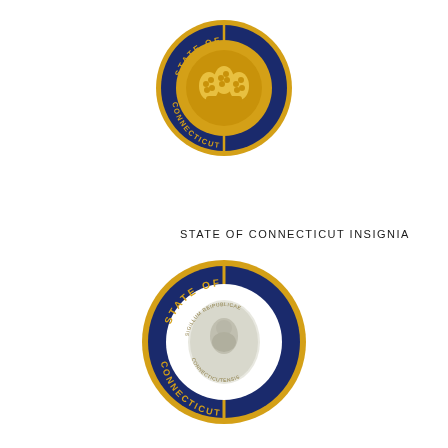[Figure (logo): State of Connecticut insignia pin — gold and navy blue circular badge with Connecticut coat of arms (three grapevines) in gold center, navy blue border with text STATE OF CONNECTICUT in gold lettering]
STATE OF CONNECTICUT INSIGNIA
[Figure (logo): State of Connecticut insignia pin — gold and navy blue circular badge with white enamel center showing Connecticut state seal (cameo figure), navy blue border with text STATE OF CONNECTICUT in gold lettering, and inner ring text SIGILLUM REIPUBLICAE CONNECTICUTENSIS]